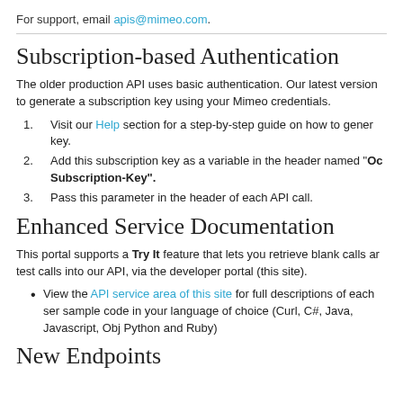For support, email apis@mimeo.com.
Subscription-based Authentication
The older production API uses basic authentication. Our latest version to generate a subscription key using your Mimeo credentials.
1. Visit our Help section for a step-by-step guide on how to generate key.
2. Add this subscription key as a variable in the header named "Oc Subscription-Key".
3. Pass this parameter in the header of each API call.
Enhanced Service Documentation
This portal supports a Try It feature that lets you retrieve blank calls and test calls into our API, via the developer portal (this site).
View the API service area of this site for full descriptions of each service, sample code in your language of choice (Curl, C#, Java, Javascript, Obj, Python and Ruby)
New Endpoints